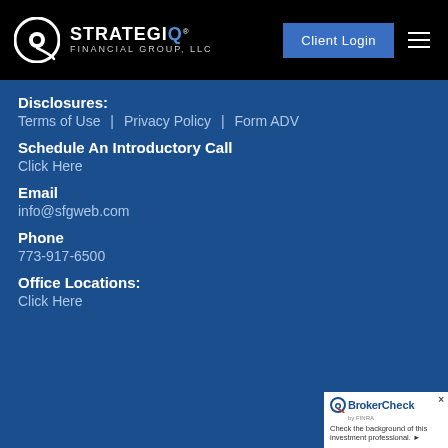[Figure (logo): StrategIQ Financial Group LLC logo with circular Q icon on black header bar, Client Login button, and hamburger menu]
Disclosures:
Terms of Use  |  Privacy Policy | Form ADV
Schedule An Introductory Call
Click Here
Email
info@sfgweb.com
Phone
773-917-6500
Office Locations:
Click Here
[Figure (logo): FINRA BrokerCheck badge with circular logo, text 'BrokerCheck by FINRA' and 'Check the background of this investment professional.']